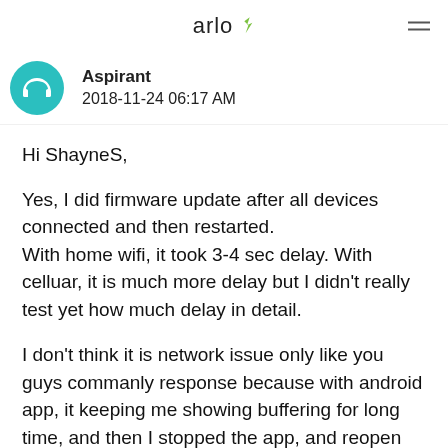arlo
Aspirant
2018-11-24 06:17 AM
Hi ShayneS,
Yes, I did firmware update after all devices connected and then restarted.
With home wifi, it took 3-4 sec delay. With celluar, it is much more delay but I didn't really test yet how much delay in detail.
I don't think it is network issue only like you guys commanly response because with android app, it keeping me showing buffering for long time, and then I stopped the app, and reopen and live stream again, buffering is very quick and I can see straight. By the way